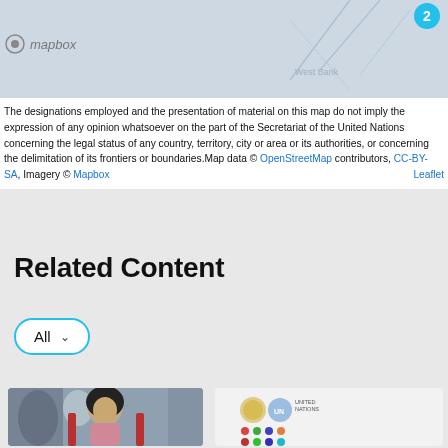[Figure (map): Partial map view with Mapbox logo, map number badge '2', decorative lines and watermark text 'West Bank']
The designations employed and the presentation of material on this map do not imply the expression of any opinion whatsoever on the part of the Secretariat of the United Nations concerning the legal status of any country, territory, city or area or its authorities, or concerning the delimitation of its frontiers or boundaries.Map data © OpenStreetMap contributors, CC-BY-SA, Imagery © Mapbox  Leaflet
Related Content
All
[Figure (photo): Photo of a woman wearing a black headscarf and pink jacket, seated in a chair with a red background element]
[Figure (other): Report card with Egyptian and UN logos and coloured dots grid]